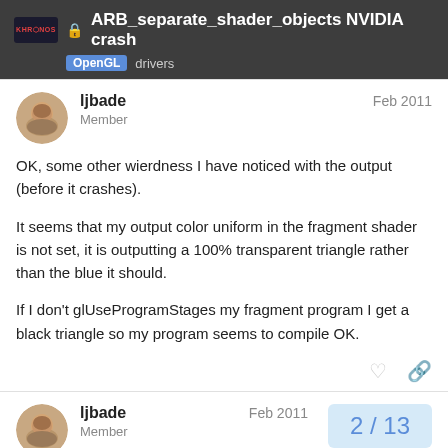ARB_separate_shader_objects NVIDIA crash — OpenGL drivers
OK, some other wierdness I have noticed with the output (before it crashes).

It seems that my output color uniform in the fragment shader is not set, it is outputting a 100% transparent triangle rather than the blue it should.

If I don't glUseProgramStages my fragment program I get a black triangle so my program seems to compile OK.
ljbade Member Feb 2011
ljbade Member Feb 2011